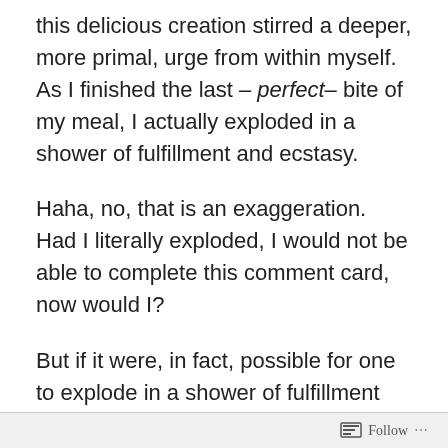this delicious creation stirred a deeper, more primal, urge from within myself. As I finished the last – perfect– bite of my meal, I actually exploded in a shower of fulfillment and ecstasy.
Haha, no, that is an exaggeration. Had I literally exploded, I would not be able to complete this comment card, now would I?
But if it were, in fact, possible for one to explode in a shower of fulfillment and ecstasy, the management of this restaurant can rest assured that I, along with each and every guest who orders the TB basket with bottomless fries, would immediately do so.
On second thought, this phenomenon might cause your …
Follow